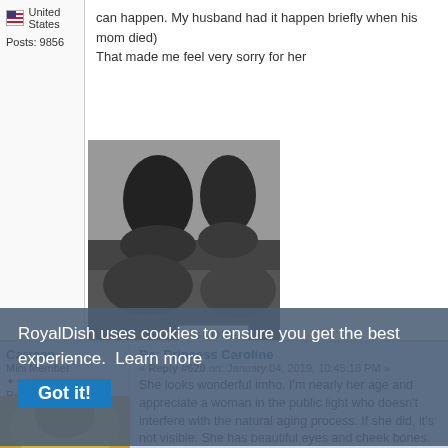United States
Posts: 9856
[Figure (photo): Black and white photo of two people in formal attire, heads bowed, appearing to be at a solemn occasion]
can happen. My husband had it happen briefly when his mom died)
That made me feel very sorry for her
IGNORE
Logged
Carreen
Mini Member
Reputation: 272
Offline
Germany
Posts: 349
Re: Princess Caroline
« Reply #620 on: January 04, 2019, 10:45:18 PM »
She looks wonderful imho. I'm nearly her age and appreciate a woman in the public light who doesn't interfere with the natural aging process. If she did, it's not visible. She has beautiful eyes and cheek bones.
RoyalDish uses cookies to ensure you get the best experience.  Learn more
Got it!